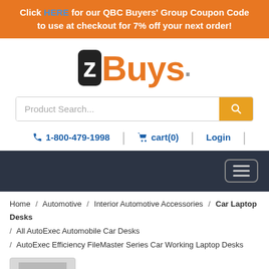Click HERE for our QBC Buyers' Group Coupon Code to use at checkout for 7% off your next order!
[Figure (logo): zBuys logo with black Z in rounded box and orange 'Buys' text]
Product Search...
1-800-479-1998   cart(0)   Login
[Figure (other): Dark navigation bar with hamburger menu button]
Home / Automotive / Interior Automotive Accessories / Car Laptop Desks / All AutoExec Automobile Car Desks / AutoExec Efficiency FileMaster Series Car Working Laptop Desks
[Figure (photo): Product thumbnail image of AutoExec car desk]